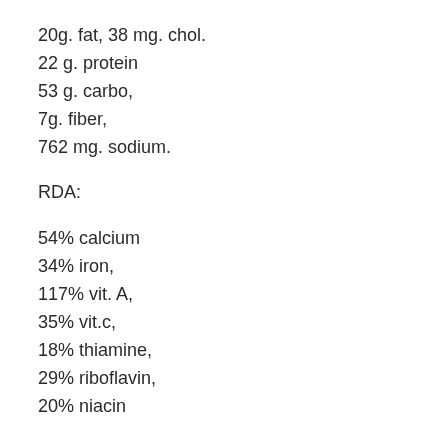20g. fat, 38 mg. chol.
22 g. protein
53 g. carbo,
7g. fiber,
762 mg. sodium.
RDA:
54% calcium
34% iron,
117% vit. A,
35% vit.c,
18% thiamine,
29% riboflavin,
20% niacin